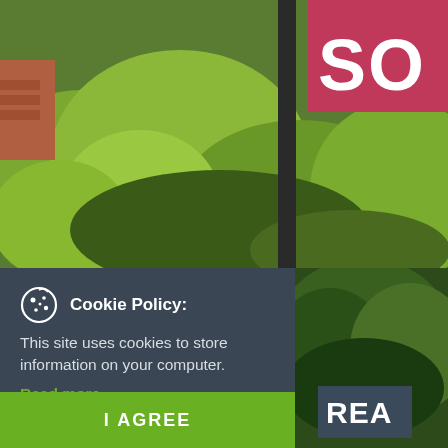[Figure (photo): Outdoor photo showing green leafy trees and shrubs with a dark vertical pole, and a partial view of a red 'SOLD' sign in the upper right corner]
[Figure (screenshot): Cookie policy overlay popup on dark charcoal background with cookie icon, policy text, 'Read more' link in green, and 'I AGREE' green button]
[Figure (photo): Bottom right photo showing dark green trees with a dark gray REA sign]
WS
Cookie Policy: This site uses cookies to store information on your computer. Read more
I AGREE